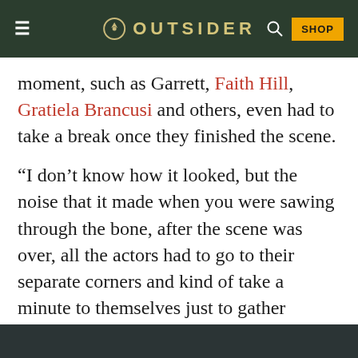OUTSIDER
moment, such as Garrett, Faith Hill, Gratiela Brancusi and others, even had to take a break once they finished the scene.
“I don’t know how it looked, but the noise that it made when you were sawing through the bone, after the scene was over, all the actors had to go to their separate corners and kind of take a minute to themselves just to gather themselves,” Garrett explained. “We heard that sound, talking about it a few days later, woke